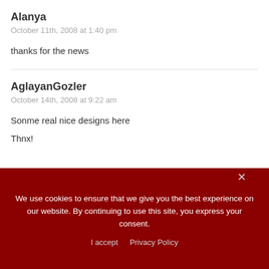Alanya
October 11th, 2008 at 1:40 pm
thanks for the news
AglayanGozler
October 14th, 2008 at 9:22 am
Sonme real nice designs here
Thnx!
We use cookies to ensure that we give you the best experience on our website. By continuing to use this site, you express your consent.
I accept   Privacy Policy